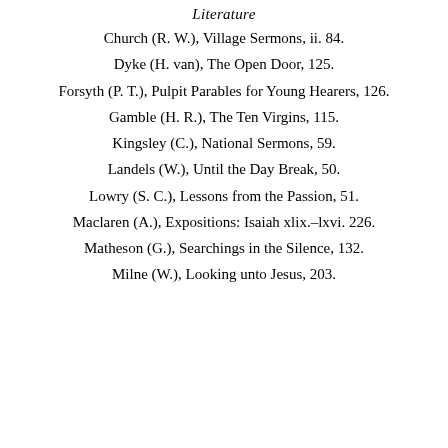Literature
Church (R. W.), Village Sermons, ii. 84.
Dyke (H. van), The Open Door, 125.
Forsyth (P. T.), Pulpit Parables for Young Hearers, 126.
Gamble (H. R.), The Ten Virgins, 115.
Kingsley (C.), National Sermons, 59.
Landels (W.), Until the Day Break, 50.
Lowry (S. C.), Lessons from the Passion, 51.
Maclaren (A.), Expositions: Isaiah xlix.–lxvi. 226.
Matheson (G.), Searchings in the Silence, 132.
Milne (W.), Looking unto Jesus, 203.